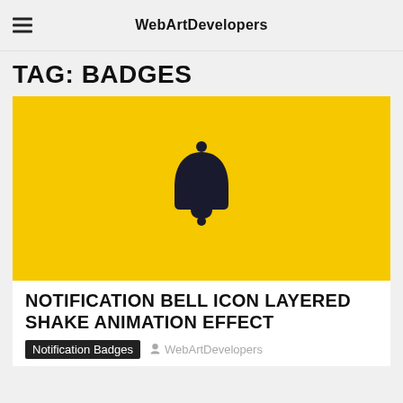WebArtDevelopers
TAG: BADGES
[Figure (illustration): Yellow rectangular card image with a black notification bell icon centered on a bright yellow background.]
NOTIFICATION BELL ICON LAYERED SHAKE ANIMATION EFFECT
Notification Badges  WebArtDevelopers